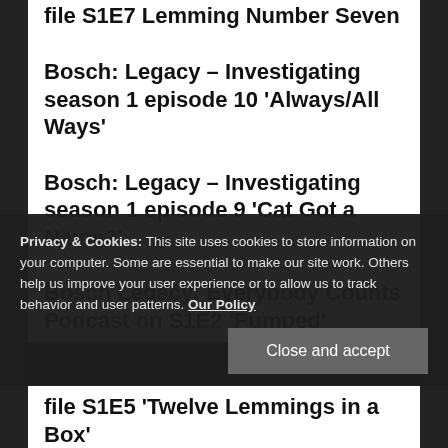file S1E7 Lemming Number Seven
Bosch: Legacy – Investigating season 1 episode 10 'Always/All Ways'
Bosch: Legacy – Investigating season 1 episode 9 'Cat Got a Name?'
Bosch Legacy: Everybody Counts Podcast on S1E2 'Pumped'
Privacy & Cookies: This site uses cookies to store information on your computer. Some are essential to make our site work. Others help us improve your user experience or to allow us to track behavior and user patterns. Our Policy
file S1E5 'Twelve Lemmings in a Box'